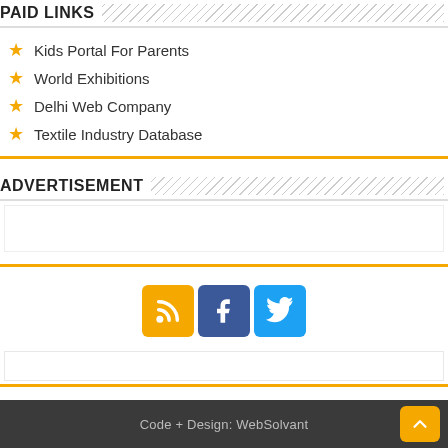PAID LINKS
Kids Portal For Parents
World Exhibitions
Delhi Web Company
Textile Industry Database
ADVERTISEMENT
[Figure (other): Social media buttons: RSS (orange), Facebook (blue), Twitter (light blue)]
Code + Design: WebSolvant